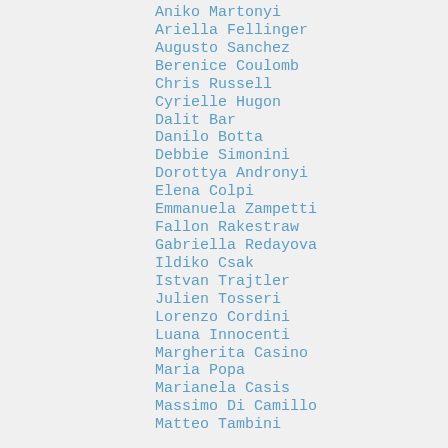Aniko Martonyi
Ariella Fellinger
Augusto Sanchez
Berenice Coulomb
Chris Russell
Cyrielle Hugon
Dalit Bar
Danilo Botta
Debbie Simonini
Dorottya Andronyi
Elena Colpi
Emmanuela Zampetti
Fallon Rakestraw
Gabriella Redayova
Ildiko Csak
Istvan Trajtler
Julien Tosseri
Lorenzo Cordini
Luana Innocenti
Margherita Casino
Maria Popa
Marianela Casis
Massimo Di Camillo
Matteo Tambini